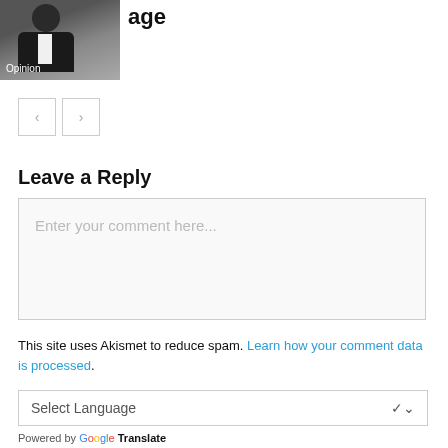[Figure (photo): Portrait photo of a man in a suit with 'Opinion' label overlay]
age
[Figure (other): Navigation buttons with left and right arrows]
Leave a Reply
Enter your comment here...
This site uses Akismet to reduce spam. Learn how your comment data is processed.
Select Language
Powered by Google Translate